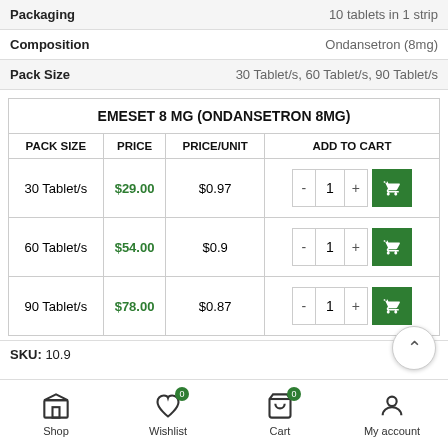| Packaging | 10 tablets in 1 strip |
| Composition | Ondansetron (8mg) |
| Pack Size | 30 Tablet/s, 60 Tablet/s, 90 Tablet/s |
| EMESET 8 MG (ONDANSETRON 8MG) |  |  |  |
| --- | --- | --- | --- |
| PACK SIZE | PRICE | PRICE/UNIT | ADD TO CART |
| 30 Tablet/s | $29.00 | $0.97 | 1 |
| 60 Tablet/s | $54.00 | $0.9 | 1 |
| 90 Tablet/s | $78.00 | $0.87 | 1 |
SKU: 10.9
Shop  Wishlist 0  Cart 0  My account